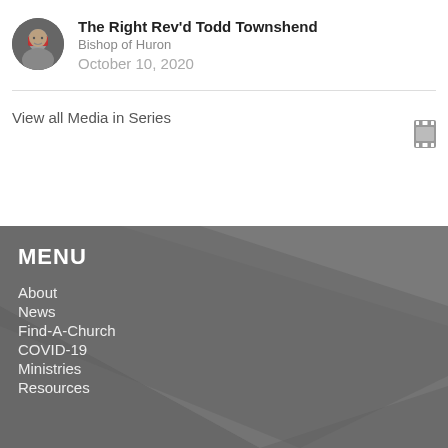The Right Rev'd Todd Townshend
Bishop of Huron
October 10, 2020
View all Media in Series
MENU
About
News
Find-A-Church
COVID-19
Ministries
Resources